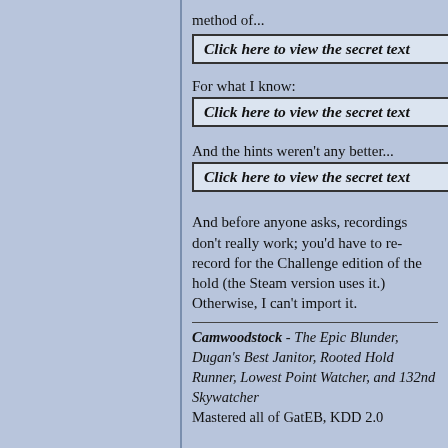method of...
Click here to view the secret text
For what I know:
Click here to view the secret text
And the hints weren't any better...
Click here to view the secret text
And before anyone asks, recordings don't really work; you'd have to re-record for the Challenge edition of the hold (the Steam version uses it.) Otherwise, I can't import it.
Camwoodstock - The Epic Blunder, Dugan's Best Janitor, Rooted Hold Runner, Lowest Point Watcher, and 132nd Skywatcher
Mastered all of GatEB, KDD 2.0